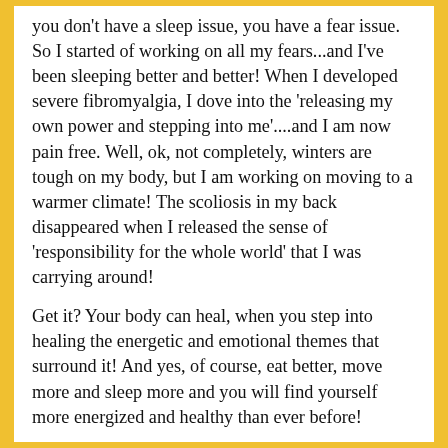you don't have a sleep issue, you have a fear issue. So I started of working on all my fears...and I've been sleeping better and better! When I developed severe fibromyalgia, I dove into the 'releasing my own power and stepping into me'....and I am now pain free. Well, ok, not completely, winters are tough on my body, but I am working on moving to a warmer climate! The scoliosis in my back disappeared when I released the sense of 'responsibility for the whole world' that I was carrying around!
Get it? Your body can heal, when you step into healing the energetic and emotional themes that surround it! And yes, of course, eat better, move more and sleep more and you will find yourself more energized and healthy than ever before!
But you see where an Energy System Reading can